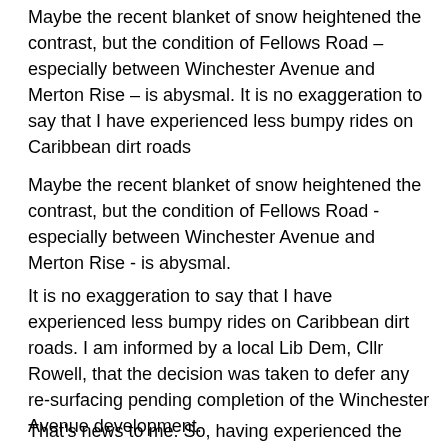Maybe the recent blanket of snow heightened the contrast, but the condition of Fellows Road – especially between Winchester Avenue and Merton Rise – is abysmal. It is no exaggeration to say that I have experienced less bumpy rides on Caribbean dirt roads
Maybe the recent blanket of snow heightened the contrast, but the condition of Fellows Road - especially between Winchester Avenue and Merton Rise - is abysmal.
It is no exaggeration to say that I have experienced less bumpy rides on Caribbean dirt roads. I am informed by a local Lib Dem, Cllr Rowell, that the decision was taken to defer any re-surfacing pending completion of the Winchester Avenue development.
That's news to me. So, having experienced the raised levels of traffic, noise, pollution and disruption from